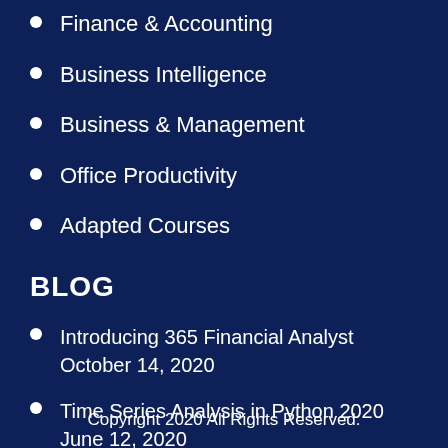Finance & Accounting
Business Intelligence
Business & Management
Office Productivity
Adapted Courses
BLOG
Introducing 365 Financial Analyst October 14, 2020
Time Series Analysis in Python 2020 June 12, 2020
Copyright 2020 All Rights Reserved.